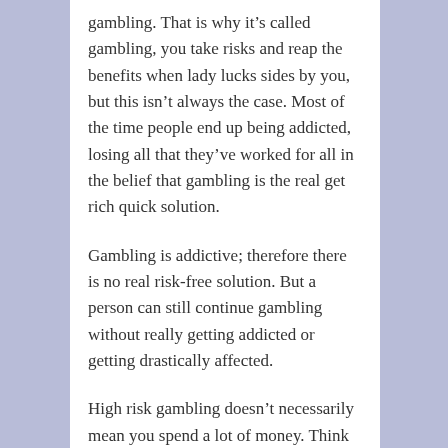gambling. That is why it's called gambling, you take risks and reap the benefits when lady lucks sides by you, but this isn't always the case. Most of the time people end up being addicted, losing all that they've worked for all in the belief that gambling is the real get rich quick solution.
Gambling is addictive; therefore there is no real risk-free solution. But a person can still continue gambling without really getting addicted or getting drastically affected.
High risk gambling doesn't necessarily mean you spend a lot of money. Think of gambling as a form of entertainment. Like other ways to get yourself entertained, you sometimes spend nothing and